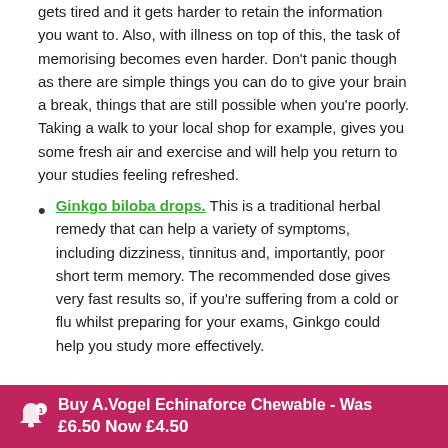gets tired and it gets harder to retain the information you want to. Also, with illness on top of this, the task of memorising becomes even harder. Don't panic though as there are simple things you can do to give your brain a break, things that are still possible when you're poorly. Taking a walk to your local shop for example, gives you some fresh air and exercise and will help you return to your studies feeling refreshed.
Ginkgo biloba drops. This is a traditional herbal remedy that can help a variety of symptoms, including dizziness, tinnitus and, importantly, poor short term memory. The recommended dose gives very fast results so, if you're suffering from a cold or flu whilst preparing for your exams, Ginkgo could help you study more effectively.
Organise Your Study Space
if you're distracted by the symptoms of your illness,
Buy A.Vogel Echinaforce Chewable - Was £6.50 Now £4.50